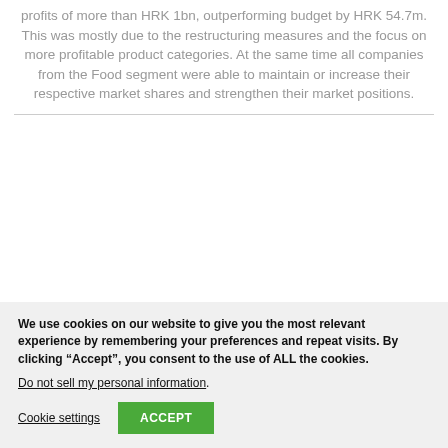profits of more than HRK 1bn, outperforming budget by HRK 54.7m. This was mostly due to the restructuring measures and the focus on more profitable product categories. At the same time all companies from the Food segment were able to maintain or increase their respective market shares and strengthen their market positions.
We use cookies on our website to give you the most relevant experience by remembering your preferences and repeat visits. By clicking “Accept”, you consent to the use of ALL the cookies.
Do not sell my personal information.
Cookie settings  ACCEPT